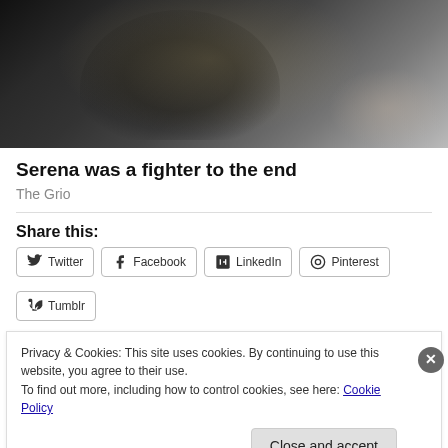[Figure (photo): Sports photo showing a person in a black sparkly outfit, appearing to be a tennis player, with blurred crowd in background]
Serena was a fighter to the end
The Grio
Share this:
Twitter Facebook LinkedIn Pinterest Tumblr
Privacy & Cookies: This site uses cookies. By continuing to use this website, you agree to their use.
To find out more, including how to control cookies, see here: Cookie Policy
Close and accept